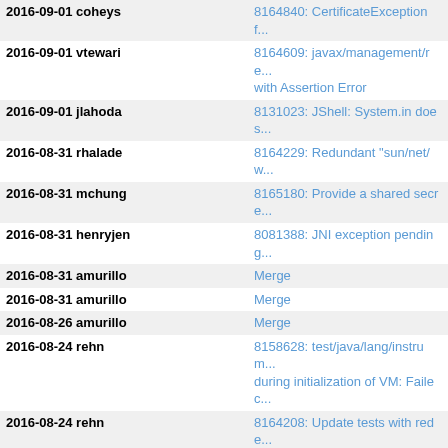| Date / User | Description |
| --- | --- |
| 2016-09-01 coheys | 8164840: CertificateException f... |
| 2016-09-01 vtewari | 8164609: javax/management/re... with Assertion Error |
| 2016-09-01 jlahoda | 8131023: JShell: System.in does... |
| 2016-08-31 rhalade | 8164229: Redundant "sun/net/w... |
| 2016-08-31 mchung | 8165180: Provide a shared secre... |
| 2016-08-31 henryjen | 8081388: JNI exception pending... |
| 2016-08-31 amurillo | Merge |
| 2016-08-31 amurillo | Merge |
| 2016-08-26 amurillo | Merge |
| 2016-08-24 rehn | 8158628: test/java/lang/instrum... during initialization of VM: Failec... |
| 2016-08-24 rehn | 8164208: Update tests with rede... |
| 2016-08-22 dsamersoff | 8162530: src/jdk.management/s... doesn't handle JNI exceptions pr... |
| 2016-08-20 ctornqvi | 8164520: java/lang/ProcessHand... |
| 2016-08-19 amurillo | Merge |
| 2016-08-19 ctornqvi | 8157957: ClassNotFoundException... |
| 2016-08-18 dsamersoff | 8157236: attach on ARMv7 fails... com.sun.tools.attach.AttachNotS... |
| 2016-08-31 shurailine | 8164982: Fix legal notices in jav... |
| 2016-08-31 ssahoo | 8164922: sun/security/provider/... Ubuntu Linux. |
| 2016-08-31 ssahoo | 8015595: Test sun/security/krb5... |
| 2016-08-31 redestad | 8164858: Enable build-time use... |
| 2016-08-31 mchung | 8160851: Remove old launcher... |
| 2016-08-30 shurailine | 8164859: Fix module dependenc... |
| 2016-08-30 jnmcir... | 6474007: (smarteredia) GetT... |